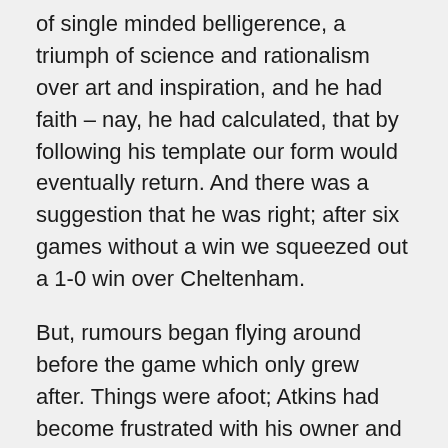of single minded belligerence, a triumph of science and rationalism over art and inspiration, and he had faith – nay, he had calculated, that by following his template our form would eventually return. And there was a suggestion that he was right; after six games without a win we squeezed out a 1-0 win over Cheltenham.
But, rumours began flying around before the game which only grew after. Things were afoot; Atkins had become frustrated with his owner and particularly his reluctance to extend the manager's contract. The lack of trust stretched the patience of both sides. He would also, later, claim frustrations with a lack of quality signings, especially when Rix started the following season with Lee Bradbury, Tommy Mooney and Craig Davies amongst his number. Atkins cited a need to protect his family and pay his mortgage